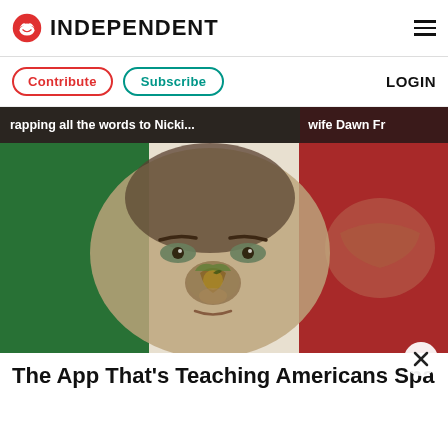INDEPENDENT
Contribute  Subscribe  LOGIN
rapping all the words to Nicki...
wife Dawn Fr
[Figure (photo): A person's face overlaid with the Mexican flag colors and eagle emblem, green on left, white with eagle in center, red on right]
The App That's Teaching Americans Spanis